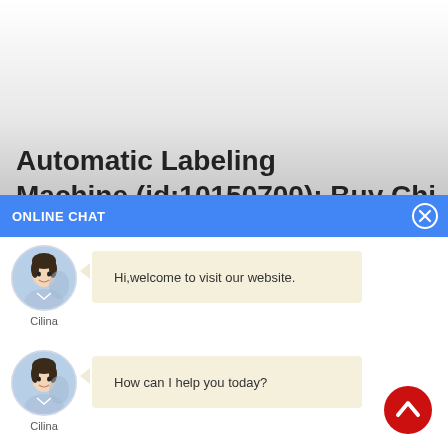Automatic Labeling
Machine (id:10150700): Buy Chi...
ONLINE CHAT
[Figure (screenshot): Online chat widget showing avatar of 'Cilina' with message: Hi,welcome to visit our website.]
Hi,welcome to visit our website.
[Figure (screenshot): Online chat widget showing avatar of 'Cilina' with message: How can I help you today?]
How can I help you today?